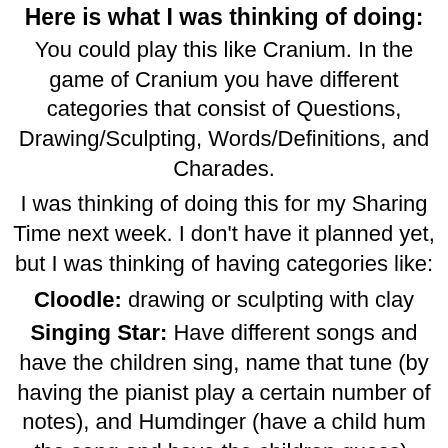Here is what I was thinking of doing:
You could play this like Cranium. In the game of Cranium you have different categories that consist of Questions, Drawing/Sculpting, Words/Definitions, and Charades.
I was thinking of doing this for my Sharing Time next week. I don't have it planned yet, but I was thinking of having categories like:
Cloodle: drawing or sculpting with clay
Singing Star: Have different songs and have the children sing, name that tune (by having the pianist play a certain number of notes), and Humdinger (have a child hum the song and have the children guess).
Scripture Search: Have different scripture references that have to do with prayer. Have a